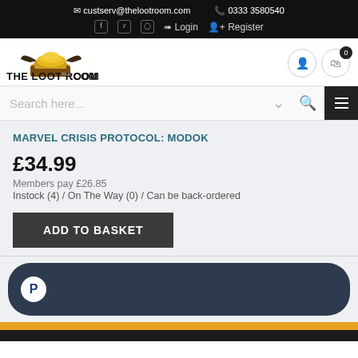custserv@thelootroom.com  0333 3580540  Login  Register
[Figure (logo): The Loot Room .com logo with treasure chest graphic]
Search here...
MARVEL CRISIS PROTOCOL: MODOK
£34.99
Members pay £26.85
Instock (4) / On The Way (0) / Can be back-ordered
ADD TO BASKET
[Figure (other): PayPal button dark rounded pill shape]